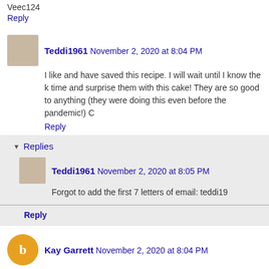Veec124
Reply
Teddi1961  November 2, 2020 at 8:04 PM
I like and have saved this recipe. I will wait until I know the k time and surprise them with this cake! They are so good to anything (they were doing this even before the pandemic!) C
Reply
Replies
Teddi1961  November 2, 2020 at 8:05 PM
Forgot to add the first 7 letters of email: teddi19
Reply
Kay Garrett  November 2, 2020 at 8:04 PM
Cleo Coyle's Pumpkin Cake with Surprise Cream Cheese Sv pumpkin/fall recipes. I'll for sure be trying this one very soon